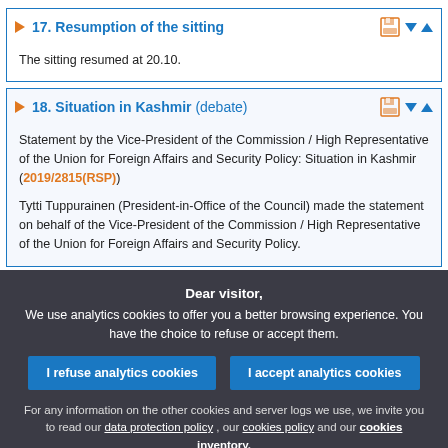17. Resumption of the sitting
The sitting resumed at 20.10.
18. Situation in Kashmir (debate)
Statement by the Vice-President of the Commission / High Representative of the Union for Foreign Affairs and Security Policy: Situation in Kashmir (2019/2815(RSP))
Tytti Tuppurainen (President-in-Office of the Council) made the statement on behalf of the Vice-President of the Commission / High Representative of the Union for Foreign Affairs and Security Policy.
Dear visitor, We use analytics cookies to offer you a better browsing experience. You have the choice to refuse or accept them.
For any information on the other cookies and server logs we use, we invite you to read our data protection policy , our cookies policy and our cookies inventory.